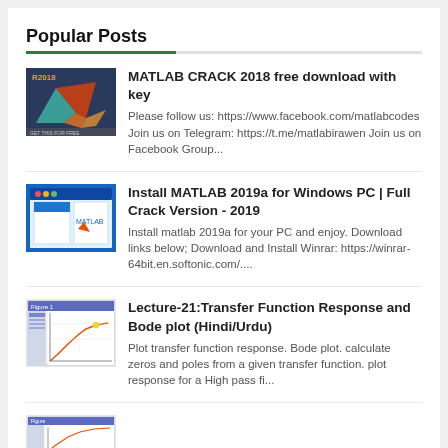Popular Posts
MATLAB CRACK 2018 free download with key
Please follow us: https://www.facebook.com/matlabcodes Join us on Telegram: https://t.me/matlabirawen Join us on Facebook Group...
Install MATLAB 2019a for Windows PC | Full Crack Version - 2019
Install matlab 2019a for your PC and enjoy. Download links below; Download and Install Winrar: https://winrar-64bit.en.softonic.com/....
Lecture-21:Transfer Function Response and Bode plot (Hindi/Urdu)
Plot transfer function response. Bode plot. calculate zeros and poles from a given transfer function. plot response for a High pass fi...